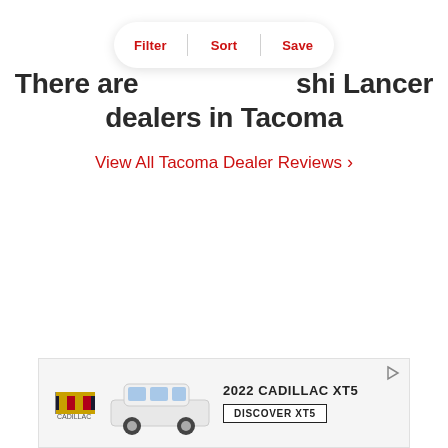[Figure (screenshot): Filter/Sort/Save pill-shaped toolbar with three labeled buttons separated by dividers]
There are [number hidden] Mitsubishi Lancer dealers in Tacoma
View All Tacoma Dealer Reviews >
[Figure (photo): Advertisement banner for 2022 Cadillac XT5 showing Cadillac logo, white SUV photo, text '2022 CADILLAC XT5' and 'DISCOVER XT5' button]